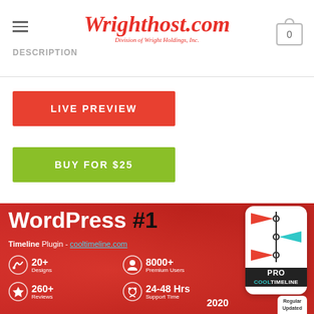Wrighthost.com — Division of Wright Holdings, Inc. | DESCRIPTION
LIVE PREVIEW
BUY FOR $25
[Figure (screenshot): WordPress #1 Timeline Plugin - cooltimeline.com promo banner. Features: 20+ Designs, 8000+ Premium Users, 260+ Reviews, 24-48 Hrs Support Time. PRO COOLTIMELINE badge. 2020 Regular Updated.]